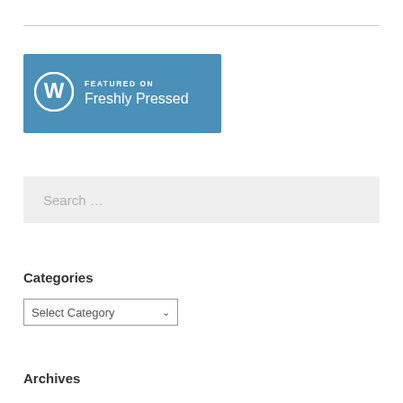[Figure (logo): Featured on Freshly Pressed WordPress badge — blue rectangle with WordPress W logo and text 'FEATURED ON Freshly Pressed']
Search ...
Categories
Select Category
Archives